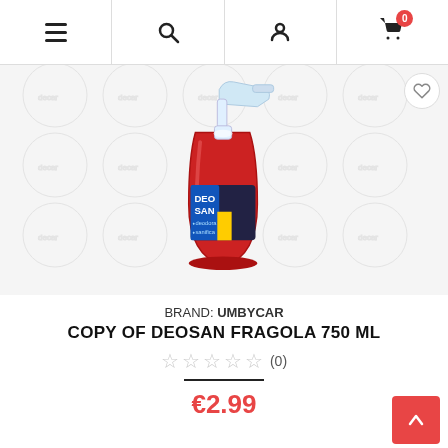Navigation bar with menu, search, account, and cart (0 items)
[Figure (photo): Red spray bottle (Deosan Fragola 750ml) with white trigger nozzle and blue/yellow label reading DEO SAN, deodora, sanifica. Background has repeated watermark circles.]
BRAND: UMBYCAR
COPY OF DEOSAN FRAGOLA 750 ML
☆☆☆☆☆ (0)
€2.99